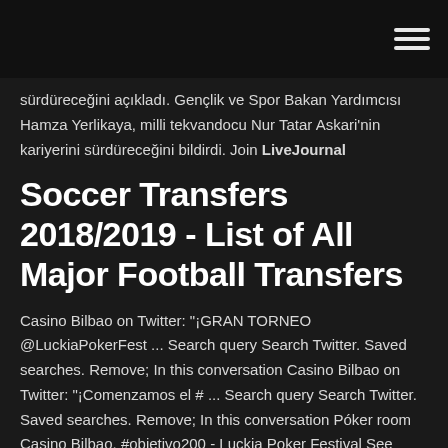sürdüreceğini açıkladı. Gençlik ve Spor Bakan Yardımcısı Hamza Yerlikaya, milli tekvandocu Nur Tatar Askari'nin kariyerini sürdüreceğini bildirdi. Join LiveJournal
Soccer Transfers 2018/2019 - List of All Major Football Transfers
Casino Bilbao on Twitter: "¡GRAN TORNEO @LuckiaPokerFest ... Search query Search Twitter. Saved searches. Remove; In this conversation Casino Bilbao on Twitter: "¡Comenzamos el # ... Search query Search Twitter. Saved searches. Remove; In this conversation Póker room Casino Bilbao. #objetivo200 - Luckia Poker Festival See more of Luckia Poker Festival on Facebook. Log In. or